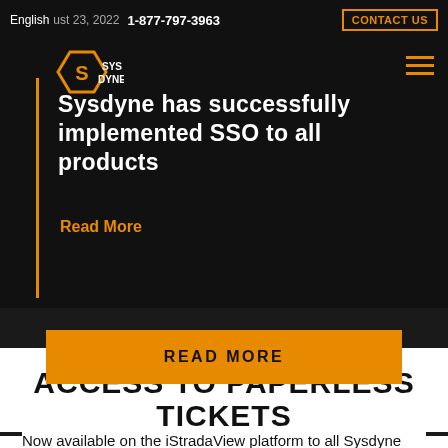English  August 23, 2022  1-877-797-3963  CONTACT US
Sysdyne has successfully implemented SSO to all products
Read More
READ MORE
ACCESS TO PAPERLESS TICKETS
Now available on the iStradaView platform to all Sysdyne and non-Sysdyne customers, contractors, inspectors, and producers. Everyone has the ability to access their